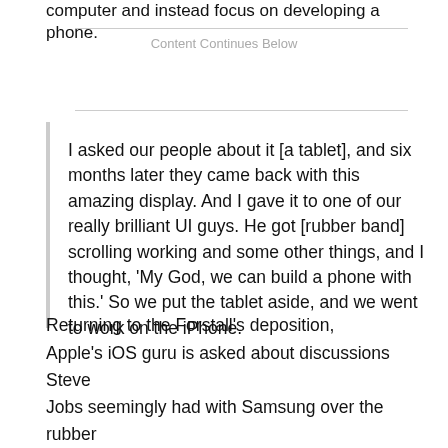computer and instead focus on developing a phone.
Content Continues Below
I asked our people about it [a tablet], and six months later they came back with this amazing display. And I gave it to one of our really brilliant UI guys. He got [rubber band] scrolling working and some other things, and I thought, 'My God, we can build a phone with this.' So we put the tablet aside, and we went to work on the iPhone.
Returning to the Forstall's deposition, Apple's iOS guru is asked about discussions Steve Jobs seemingly had with Samsung over the rubber